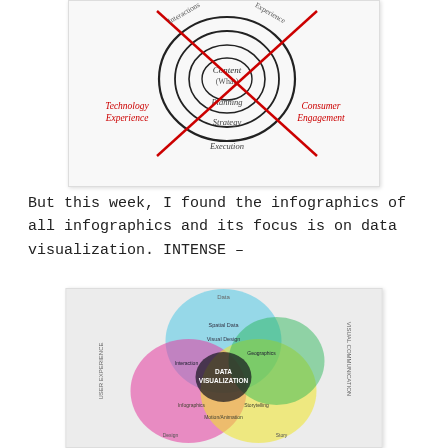[Figure (infographic): Hand-drawn concentric circles diagram with labels: Content (What), Planning, Strategy, Execution in center rings. Red diagonal lines cross through labeled Technology Experience (left) and Consumer Engagement (right). Other labels partially visible at top.]
But this week, I found the infographics of all infographics and its focus is on data visualization. INTENSE –
[Figure (infographic): Colorful Venn diagram with overlapping circles in cyan/blue, magenta/pink, yellow, and green. Center labeled DATA VISUALIZATION. Surrounding regions labeled with various data visualization disciplines. Outer ring labels include: USER EXPERIENCE, VISUAL COMMUNICATION, and others partially visible. Many small text labels in overlap regions.]